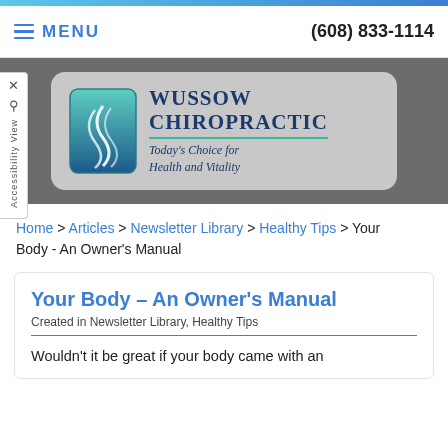MENU   (608) 833-1114
[Figure (logo): Wussow Chiropractic logo with teal wave icon and tagline 'Today's Choice for Health and Vitality']
Home > Articles > Newsletter Library > Healthy Tips > Your Body - An Owner's Manual
Your Body – An Owner's Manual
Created in Newsletter Library, Healthy Tips
Wouldn't it be great if your body came with an